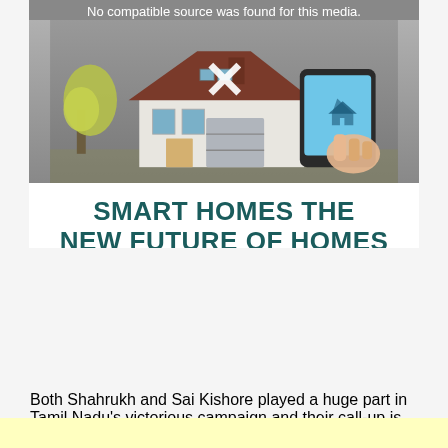[Figure (screenshot): Media player error screen showing a house illustration with a person using a tablet, and text 'No compatible source was found for this media.' with a close X button overlay. Below the illustration is a title panel reading 'SMART HOMES THE NEW FUTURE OF HOMES' in teal bold text on white background, then a black bar at the bottom.]
Both Shahrukh and Sai Kishore played a huge part in Tamil Nadu's victorious campaign and their call-up is more of a precautionary measure in COVID-19 times